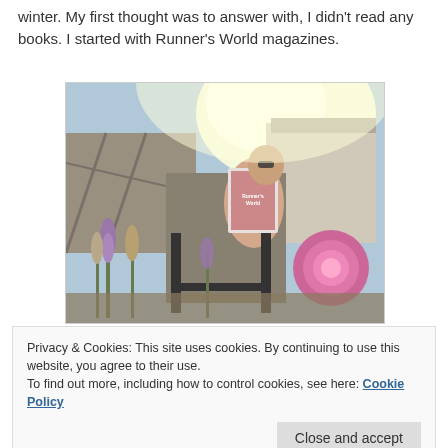winter. My first thought was to answer with, I didn't read any books. I started with Runner's World magazines.
[Figure (photo): Person sitting in a garden chair reading a Runner's World magazine, surrounded by flowers including purple dahlias, in bright sunlight with a house in the background.]
Privacy & Cookies: This site uses cookies. By continuing to use this website, you agree to their use.
To find out more, including how to control cookies, see here: Cookie Policy
marathons I run and I looked at them like they were crazy.